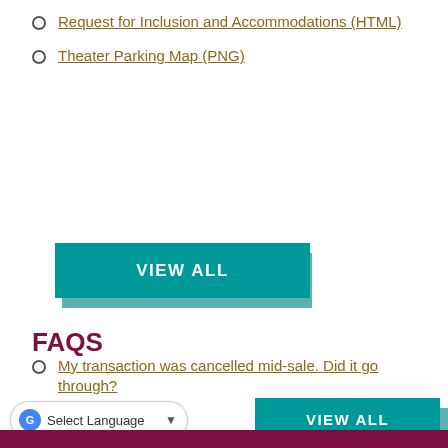Request for Inclusion and Accommodations (HTML)
Theater Parking Map (PNG)
FAQS
My transaction was cancelled mid-sale. Did it go through?
Are there senior citizen and student rates?
I accidentally bought tickets to the wrong show. May I exchange them?